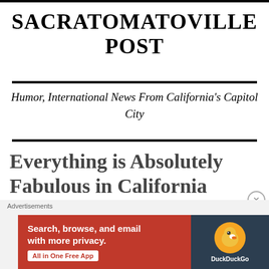SACRATOMATOVILLE POST
Humor, International News From California's Capitol City
Everything is Absolutely Fabulous in California Govenor Newsome
Advertisements
[Figure (screenshot): DuckDuckGo advertisement banner: red background with text 'Search, browse, and email with more privacy. All in One Free App' and DuckDuckGo logo on dark background.]